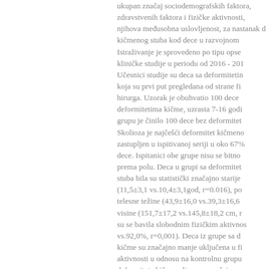ukupan značaj sociodemografskih faktora, zdravstvenih faktora i fizičke aktivnosti, njihova međusobna uslovljenost, za nastanak deformiteta kičmenog stuba kod dece u razvojnom periodu. Istraživanje je sprovedeno po tipu opservacione kliničke studije u periodu od 2016 - 2018. godine. Učesnici studije su deca sa deformitetima kičme koja su prvi put pregledana od strane fizijatra ili hirurga. Uzorak je obuhvatio 100 dece sa deformitetima kičme, uzrasta 7-16 godina. Kontrolnu grupu je činilo 100 dece bez deformiteta kičme. Skolioza je najčešći deformitet kičmenog stuba, zastupljen u ispitivanoj seriji u oko 67% ukupnog broja dece. Ispitanici obe grupe nisu se bitno razlikovali prema polu. Deca u grupi sa deformitetima kičmenog stuba bila su statistički značajno starije životne dobi (11,5±3,1 vs.10,4±3,1god, r=0.016), po pitanju telesne težine (43,9±16,0 vs.39,3±16,6 kg) i telesne visine (151,7±17,2 vs.145,8±18,2 cm, r=0,049) i su se bavila slobodnim fizičkim aktivnostima (74,0% vs.92,0%, r=0,001). Deca iz grupe sa deformitetima kičme su značajno manje uključena u fizičke aktivnosti u odnosu na kontrolnu grupu bez deformiteta kičme, ali nema značajne razlike u učestalosti i trajanju vremena provedenog u fizičkim aktivnostima tokom nedelje, kao ni u pogledu zastupljenosti različitih sportova. Za de